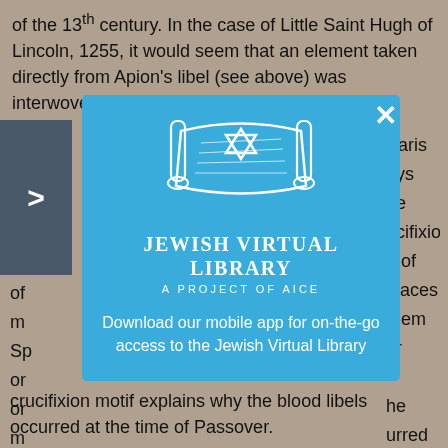of the 13th century. In the case of Little Saint Hugh of Lincoln, 1255, it would seem that an element taken directly from Apion's libel (see above) was interwoven … Paris … ays … he Jew … of … ucifixio … m … e of … Sp … places … o … them … o … er … m … cr … he eve … of … urred … th … ia" … (1 … s unde … to … of the … Je … n a … ca … ed him … to … The crucifixion motif explains why the blood libels occurred at the time of Passover.
[Figure (logo): Jewish Virtual Library modal popup with Torah scroll and Star of David logo, title 'Jewish Virtual Library - A Project of AICE', and text 'Download our mobile app for on-the-go access to the Jewish Virtual Library']